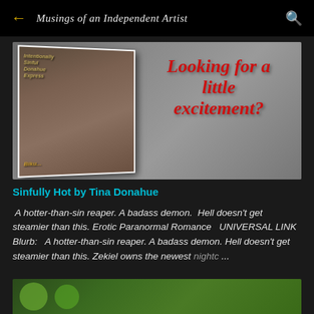Musings of an Independent Artist
[Figure (photo): Book cover banner with romantic novel imagery and red italic text reading 'Looking for a little excitement?']
Sinfully Hot by Tina Donahue
A hotter-than-sin reaper. A badass demon. Hell doesn't get steamier than this. Erotic Paranormal Romance UNIVERSAL LINK Blurb: A hotter-than-sin reaper. A badass demon. Hell doesn't get steamier than this. Zekiel owns the newest nightc ...
[Figure (photo): Partial image at the bottom showing green circular objects on a light background]